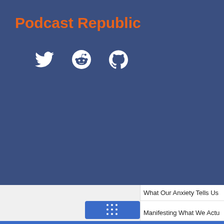Podcast Republic
[Figure (illustration): Social media icons: Twitter bird, Reddit alien, GitHub octocat — white icons on blue background]
What Our Anxiety Tells Us
Manifesting What We Actu